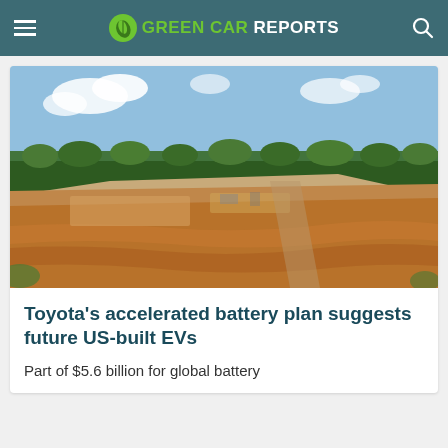GREEN CAR REPORTS
[Figure (photo): Aerial view of a large construction site with cleared earth and red-orange soil, with green forested areas in the background under a partly cloudy blue sky — likely a battery manufacturing facility site.]
Toyota's accelerated battery plan suggests future US-built EVs
Part of $5.6 billion for global battery